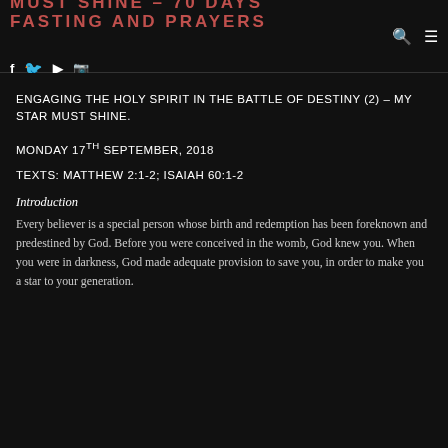MUST SHINE – 70 DAYS FASTING AND PRAYERS
ENGAGING THE HOLY SPIRIT IN THE BATTLE OF DESTINY (2) – MY STAR MUST SHINE.
MONDAY 17TH SEPTEMBER, 2018
Texts: MATTHEW 2:1-2; ISAIAH 60:1-2
Introduction
Every believer is a special person whose birth and redemption has been foreknown and predestined by God. Before you were conceived in the womb, God knew you. When you were in darkness, God made adequate provision to save you, in order to make you a star to your generation.